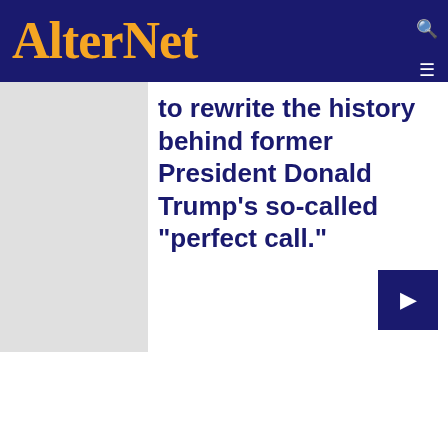AlterNet
[Figure (photo): Light gray image placeholder on the left side below the header]
to rewrite the history behind former President Donald Trump's so-called "perfect call."